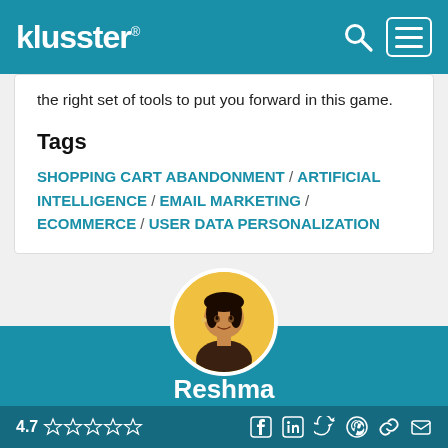klusster®
the right set of tools to put you forward in this game.
Tags
SHOPPING CART ABANDONMENT / ARTIFICIAL INTELLIGENCE / EMAIL MARKETING / ECOMMERCE / USER DATA PERSONALIZATION
[Figure (photo): Circular profile photo of author Reshma against yellow background]
Reshma
4.7 ☆☆☆☆☆ [social icons: facebook, linkedin, twitter, pinterest, link, email]